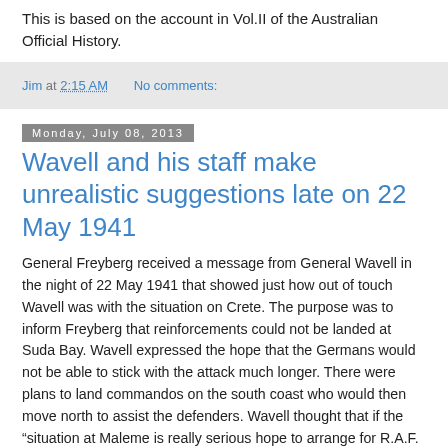This is based on the account in Vol.II of the Australian Official History.
Jim at 2:15 AM   No comments:
Monday, July 08, 2013
Wavell and his staff make unrealistic suggestions late on 22 May 1941
General Freyberg received a message from General Wavell in the night of 22 May 1941 that showed just how out of touch Wavell was with the situation on Crete. The purpose was to inform Freyberg that reinforcements could not be landed at Suda Bay. Wavell expressed the hope that the Germans would not be able to stick with the attack much longer. There were plans to land commandos on the south coast who would then move north to assist the defenders. Wavell thought that if the "situation at Maleme is really serious hope to arrange for R.A.F. to send fighters to strafe enemy tomorrow until ammunition and petrol exhausted and